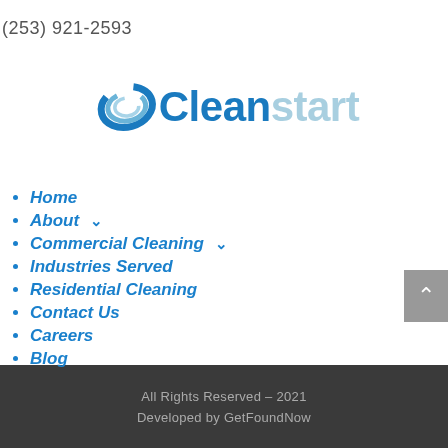(253) 921-2593
[Figure (logo): Cleanstart company logo with swoosh icon and two-tone text: 'Clean' in dark blue and 'start' in light blue.]
Home
About ▾
Commercial Cleaning ▾
Industries Served
Residential Cleaning
Contact Us
Careers
Blog
All Rights Reserved – 2021
Developed by GetFoundNow